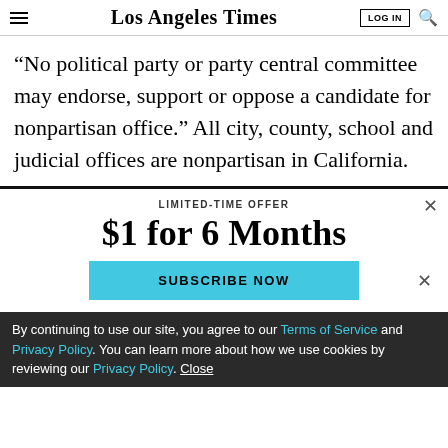Los Angeles Times — LOG IN | Search
“No political party or party central committee may endorse, support or oppose a candidate for nonpartisan office.” All city, county, school and judicial offices are nonpartisan in California.
LIMITED-TIME OFFER
$1 for 6 Months
SUBSCRIBE NOW
By continuing to use our site, you agree to our Terms of Service and Privacy Policy. You can learn more about how we use cookies by reviewing our Privacy Policy. Close